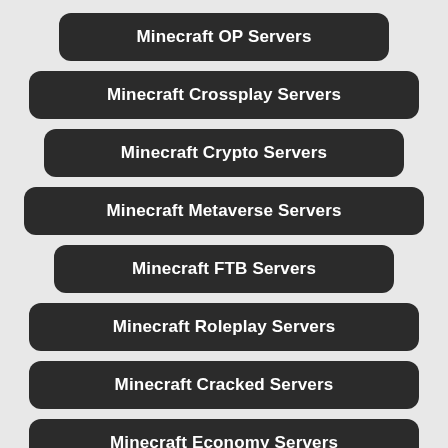Minecraft OP Servers
Minecraft Crossplay Servers
Minecraft Crypto Servers
Minecraft Metaverse Servers
Minecraft FTB Servers
Minecraft Roleplay Servers
Minecraft Cracked Servers
Minecraft Economy Servers
Minecraft Tekkit Servers